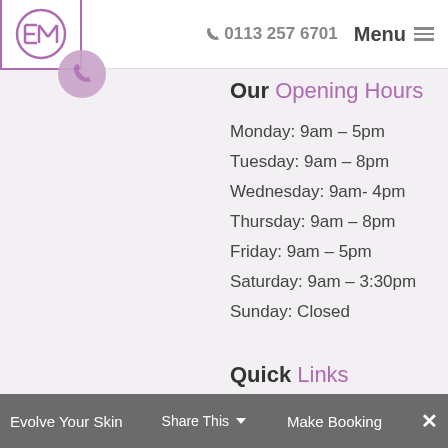0113 257 6701  Menu
[Figure (logo): EM logo in purple circle inside square border]
Our Opening Hours
Monday: 9am – 5pm
Tuesday: 9am – 8pm
Wednesday: 9am- 4pm
Thursday: 9am – 8pm
Friday: 9am – 5pm
Saturday: 9am – 3:30pm
Sunday: Closed
Quick Links
Evolve Your Skin   Share This   Make Booking